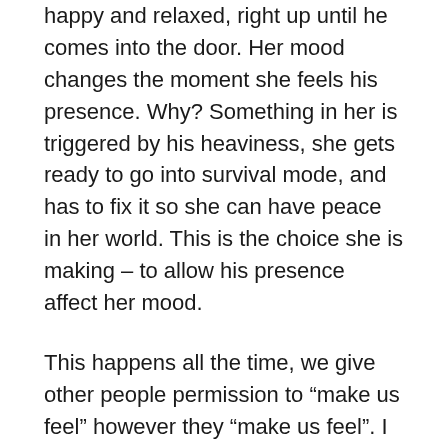happy and relaxed, right up until he comes into the door. Her mood changes the moment she feels his presence. Why? Something in her is triggered by his heaviness, she gets ready to go into survival mode, and has to fix it so she can have peace in her world. This is the choice she is making – to allow his presence affect her mood.
This happens all the time, we give other people permission to “make us feel” however they “make us feel”. I don’t believe other people “make us feel” anything. Instead, we release control of our own state of being and hand it over to someone else, and then usually end up resenting them because they don’t know what to do with it, or being panicked because we